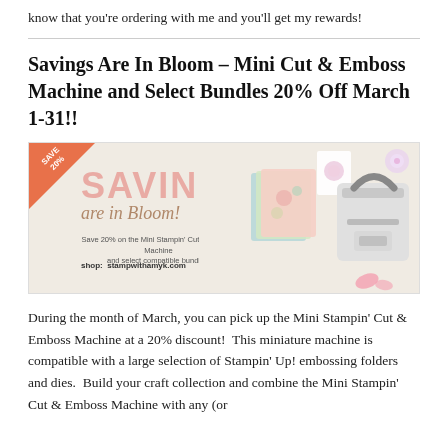know that you're ordering with me and you'll get my rewards!
Savings Are In Bloom – Mini Cut & Emboss Machine and Select Bundles 20% Off March 1-31!!
[Figure (illustration): Promotional banner for 'Savings are in Bloom!' showing crafting supplies, embossing machine, stamp bundles, and an orange corner badge reading SAVE 20%. Text reads: Save 20% on the Mini Stampin' Cut & Emboss Machine and select compatible bundles. shop: stampwithamyk.com]
During the month of March, you can pick up the Mini Stampin' Cut & Emboss Machine at a 20% discount!  This miniature machine is compatible with a large selection of Stampin' Up! embossing folders and dies.  Build your craft collection and combine the Mini Stampin' Cut & Emboss Machine with any (or